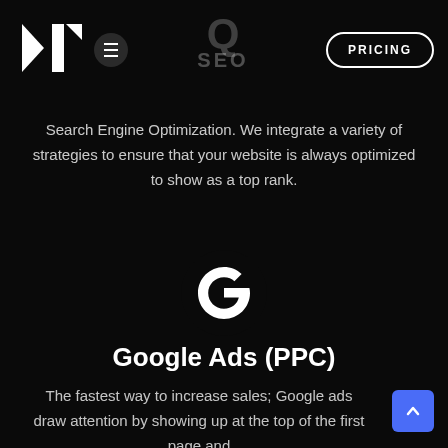[Figure (logo): White geometric logo resembling stylized letters N on dark background]
[Figure (other): Hamburger menu icon (three white lines in circle)]
[Figure (other): Large faint search/magnifier icon Q and SEO text in center navigation]
[Figure (other): PRICING button with white rounded border]
Search Engine Optimization. We integrate a variety of strategies to ensure that your website is always optimized to show as a top rank.
[Figure (logo): Google G logo in white on black background]
Google Ads (PPC)
The fastest way to increase sales; Google ads draw attention by showing up at the top of the first page and